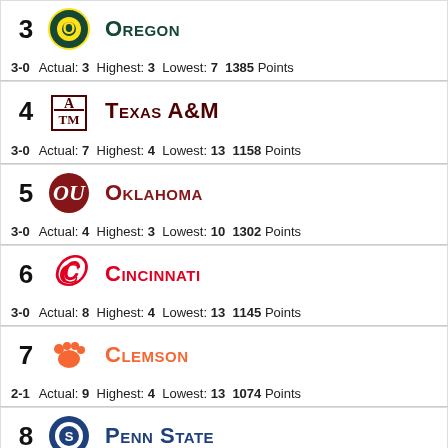3 Oregon | 3-0 Actual: 3 Highest: 3 Lowest: 7 1385 Points
4 Texas A&M | 3-0 Actual: 7 Highest: 4 Lowest: 13 1158 Points
5 Oklahoma | 3-0 Actual: 4 Highest: 3 Lowest: 10 1302 Points
6 Cincinnati | 3-0 Actual: 8 Highest: 4 Lowest: 13 1145 Points
7 Clemson | 2-1 Actual: 9 Highest: 4 Lowest: 13 1074 Points
8 Penn State | 3-0 Actual: 6 Highest: 3 Lowest: 10 1197 Points